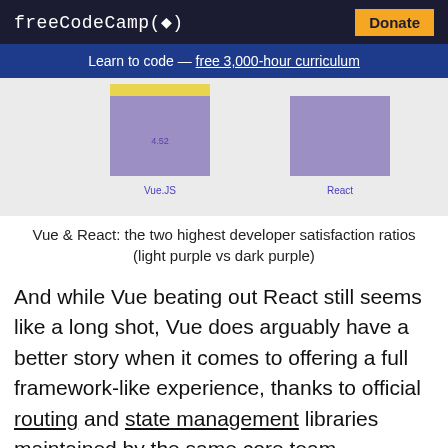freeCodeCamp(🔥)  Donate
Learn to code — free 3,000-hour curriculum
[Figure (bar-chart): Vue & React developer satisfaction ratios]
Vue & React: the two highest developer satisfaction ratios (light purple vs dark purple)
And while Vue beating out React still seems like a long shot, Vue does arguably have a better story when it comes to offering a full framework-like experience, thanks to official routing and state management libraries maintained by the same core team.